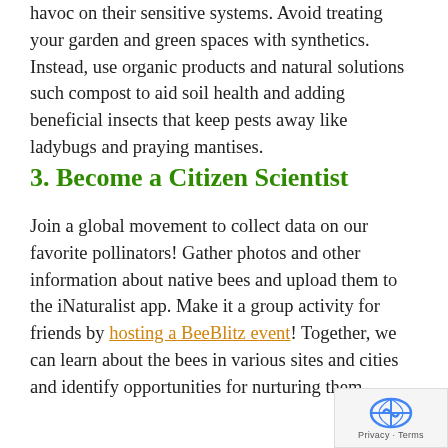havoc on their sensitive systems. Avoid treating your garden and green spaces with synthetics. Instead, use organic products and natural solutions such compost to aid soil health and adding beneficial insects that keep pests away like ladybugs and praying mantises.
3. Become a Citizen Scientist
Join a global movement to collect data on our favorite pollinators! Gather photos and other information about native bees and upload them to the iNaturalist app. Make it a group activity for friends by hosting a BeeBlitz event! Together, we can learn about the bees in various sites and cities and identify opportunities for nurturing them.